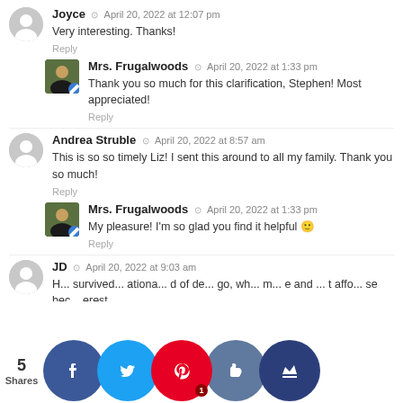Joyce · April 20, 2022 at 12:07 pm
Very interesting. Thanks!
Reply
Mrs. Frugalwoods · April 20, 2022 at 1:33 pm
Thank you so much for this clarification, Stephen! Most appreciated!
Reply
Andrea Struble · April 20, 2022 at 8:57 am
This is so so timely Liz! I sent this around to all my family. Thank you so much!
Reply
Mrs. Frugalwoods · April 20, 2022 at 1:33 pm
My pleasure! I'm so glad you find it helpful 🙂
Reply
JD · April 20, 2022 at 9:03 am
H... survived... ationa... d of de... go, wh... m... e and ... t affo... se bec... erest ...
[Figure (infographic): Social share bar with 5 Shares and icons for Facebook, Twitter, Pinterest (1), LinkedIn thumbs up, and a crown icon]